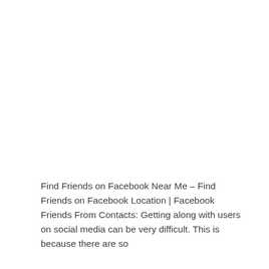Find Friends on Facebook Near Me – Find Friends on Facebook Location | Facebook Friends From Contacts: Getting along with users on social media can be very difficult. This is because there are so